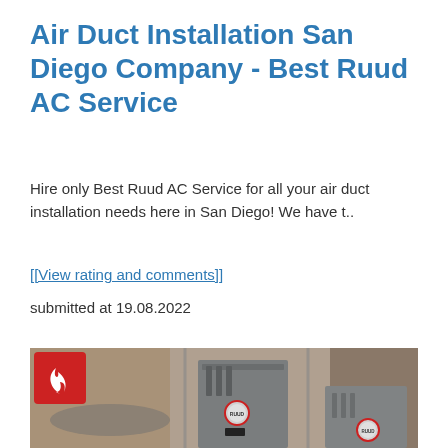Air Duct Installation San Diego Company - Best Ruud AC Service
Hire only Best Ruud AC Service for all your air duct installation needs here in San Diego! We have t..
[[View rating and comments]]
submitted at 19.08.2022
[Figure (photo): Photo of Ruud HVAC units (gray metal furnace/heating units) displayed indoors with blurred outdoor background visible through large windows. A red square icon with a white flame logo is overlaid in the upper left corner of the image.]